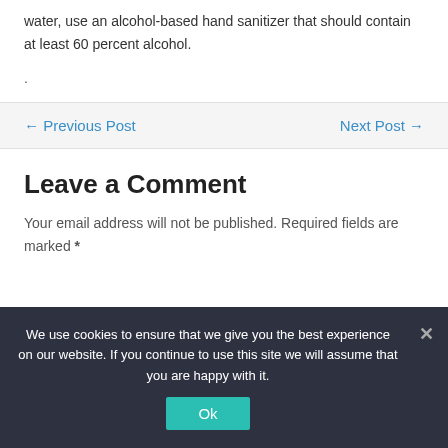water, use an alcohol-based hand sanitizer that should contain at least 60 percent alcohol.
.
← Previous Post
Next Post →
Leave a Comment
Your email address will not be published. Required fields are marked *
We use cookies to ensure that we give you the best experience on our website. If you continue to use this site we will assume that you are happy with it.
Ok